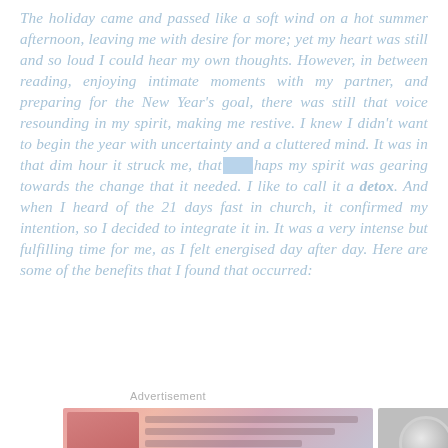The holiday came and passed like a soft wind on a hot summer afternoon, leaving me with desire for more; yet my heart was still and so loud I could hear my own thoughts. However, in between reading, enjoying intimate moments with my partner, and preparing for the New Year's goal, there was still that voice resounding in my spirit, making me restive. I knew I didn't want to begin the year with uncertainty and a cluttered mind. It was in that dim hour it struck me, that perhaps my spirit was gearing towards the change that it needed. I like to call it a detox. And when I heard of the 21 days fast in church, it confirmed my intention, so I decided to integrate it in. It was a very intense but fulfilling time for me, as I felt energised day after day. Here are some of the benefits that I found that occurred:
[Figure (photo): Advertisement banner image with pink and gradient tones, product advertisement]
Advertisement